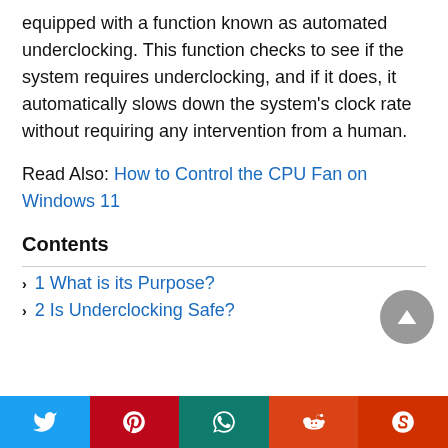equipped with a function known as automated underclocking. This function checks to see if the system requires underclocking, and if it does, it automatically slows down the system's clock rate without requiring any intervention from a human.
Read Also: How to Control the CPU Fan on Windows 11
Contents
1 What is its Purpose?
2 Is Underclocking Safe?